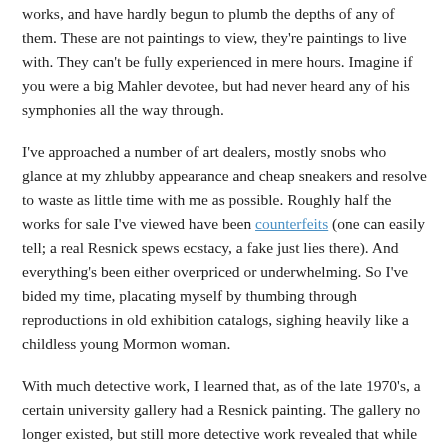works, and have hardly begun to plumb the depths of any of them. These are not paintings to view, they're paintings to live with. They can't be fully experienced in mere hours. Imagine if you were a big Mahler devotee, but had never heard any of his symphonies all the way through.
I've approached a number of art dealers, mostly snobs who glance at my zhlubby appearance and cheap sneakers and resolve to waste as little time with me as possible. Roughly half the works for sale I've viewed have been counterfeits (one can easily tell; a real Resnick spews ecstacy, a fake just lies there). And everything's been either overpriced or underwhelming. So I've bided my time, placating myself by thumbing through reproductions in old exhibition catalogs, sighing heavily like a childless young Mormon woman.
With much detective work, I learned that, as of the late 1970's, a certain university gallery had a Resnick painting. The gallery no longer existed, but still more detective work revealed that while the painting was all but forgotten by the university, which long since had lost interest in art, it was currently hanging, unannounced, in some cheesy conference room. I learned which room (yep, I've been working hard), and the kindly Conferences Director agreed to bring me over to view it. When he opened the door and turned on the buzzing, throbbing overhead fluorescent panel